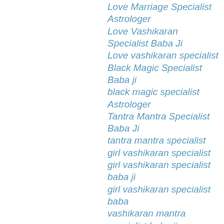Love Marriage Specialist Astrologer
Love Vashikaran Specialist Baba Ji
Love vashikaran specialist
Black Magic Specialist Baba ji
black magic specialist Astrologer
Tantra Mantra Specialist Baba Ji
tantra mantra specialist
girl vashikaran specialist
girl vashikaran specialist baba ji
girl vashikaran specialist baba
vashikaran mantra specialist baba ji
all love problem solution
love marriage specialist baba ji
mohini vashikaran mantra specialist baba ji
mohini vashikaran specialist
mohini vashikaran mantra for love in hindi
love problem astrologer
best love problem solution
love marriage specialist baba ji
girl vashikaran specialist baba ji